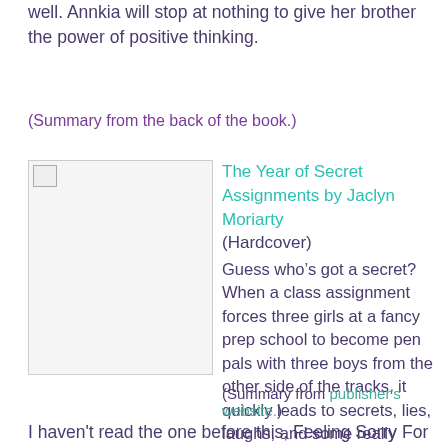well. Annkia will stop at nothing to give her brother the power of positive thinking.
(Summary from the back of the book.)
[Figure (photo): Book cover image placeholder]
The Year of Secret Assignments by Jaclyn Moriarty (Hardcover)
Guess who’s got a secret? When a class assignment forces three girls at a fancy prep school to become pen pals with three boys from the other side of the tracks, it quickly leads to secrets, lies, laughs, and some really excellent kidding.
(Summary from publisher's website.)
I haven't read the one before this, Feeling Sorry For Celia (I